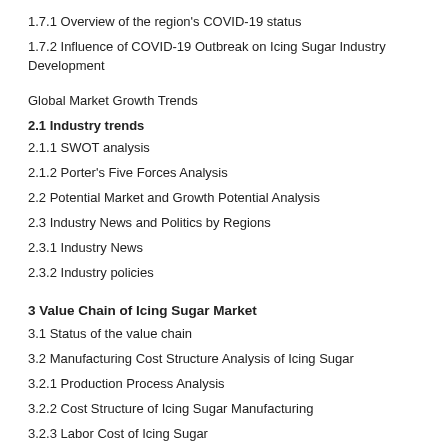1.7.1 Overview of the region's COVID-19 status
1.7.2 Influence of COVID-19 Outbreak on Icing Sugar Industry Development
Global Market Growth Trends
2.1 Industry trends
2.1.1 SWOT analysis
2.1.2 Porter's Five Forces Analysis
2.2 Potential Market and Growth Potential Analysis
2.3 Industry News and Politics by Regions
2.3.1 Industry News
2.3.2 Industry policies
3 Value Chain of Icing Sugar Market
3.1 Status of the value chain
3.2 Manufacturing Cost Structure Analysis of Icing Sugar
3.2.1 Production Process Analysis
3.2.2 Cost Structure of Icing Sugar Manufacturing
3.2.3 Labor Cost of Icing Sugar